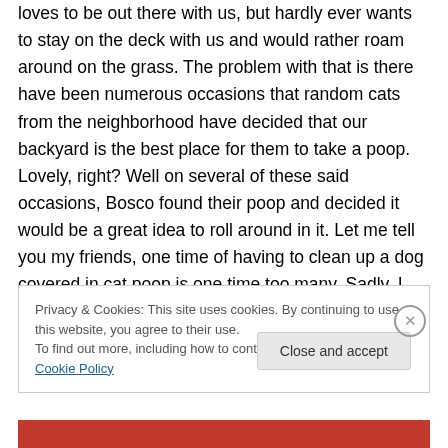loves to be out there with us, but hardly ever wants to stay on the deck with us and would rather roam around on the grass. The problem with that is there have been numerous occasions that random cats from the neighborhood have decided that our backyard is the best place for them to take a poop. Lovely, right? Well on several of these said occasions, Bosco found their poop and decided it would be a great idea to roll around in it. Let me tell you my friends, one time of having to clean up a dog covered in cat poop is one time too many. Sadly, I had the pleasure of the experience several times. After the last time, I told
Privacy & Cookies: This site uses cookies. By continuing to use this website, you agree to their use. To find out more, including how to control cookies, see here: Cookie Policy
Close and accept